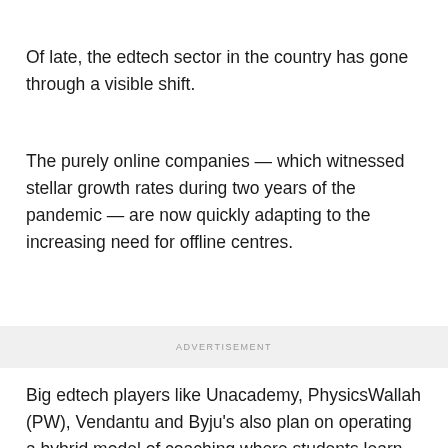Of late, the edtech sector in the country has gone through a visible shift.
The purely online companies — which witnessed stellar growth rates during two years of the pandemic — are now quickly adapting to the increasing need for offline centres.
ADVERTISEMENT
Big edtech players like Unacademy, PhysicsWallah (PW), Vendantu and Byju's also plan on operating a hybrid model of coaching where students learn from both, physical centres as well as virtual classes.
Byju's has already committed $200 million for its